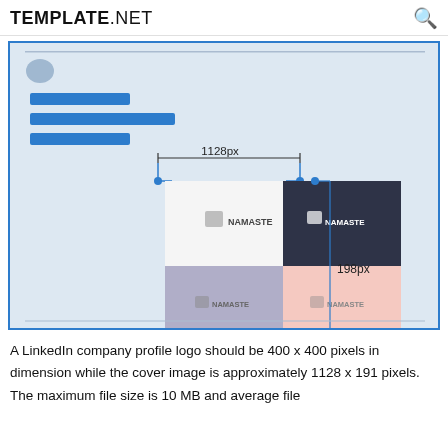TEMPLATE.NET
[Figure (infographic): LinkedIn cover image size guide showing a banner with dimensions 1128px width and 198px height, with four logo placement squares (white, dark, lavender, pink) showing the Namaste brand logo in each color variation.]
A LinkedIn company profile logo should be 400 x 400 pixels in dimension while the cover image is approximately 1128 x 191 pixels. The maximum file size is 10 MB and average file